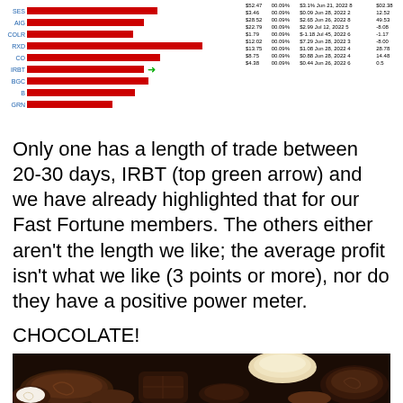[Figure (bar-chart): Horizontal red bar chart showing multiple stock tickers. A green arrow points to one bar (IRBT). Labels on left are ticker symbols in blue.]
| $52.47 | 00.09% | $3.1%  Jun 21, 2022  8 | $02.38 |
| $3.46 | 00.09% | $0.09  Jun 28, 2022  2 | 12.52 |
| $28.52 | 00.09% | $2.65  Jun 26, 2022  8 | 49.53 |
| $22.79 | 00.09% | $2.99  Jul 12, 2022  5 | -8.08 |
| $1.79 | 00.09% | $-1.18  Jul 45, 2022  6 | -1.17 |
| $12.02 | 00.09% | $7.29  Jun 28, 2022  3 | -8.00 |
| $13.75 | 00.09% | $1.08  Jun 28, 2022  4 | 28.78 |
| $8.75 | 00.09% | $0.88  Jun 28, 2022  4 | 14.48 |
| $4.38 | 00.09% | $0.44  Jun 26, 2022  6 | 0.5 |
Only one has a length of trade between 20-30 days, IRBT (top green arrow) and we have already highlighted that for our Fast Fortune members. The others either aren't the length we like; the average profit isn't what we like (3 points or more), nor do they have a positive power meter.
CHOCOLATE!
[Figure (photo): Close-up photo of assorted chocolate confections — dark, milk, and white chocolates with decorative swirls and patterns.]